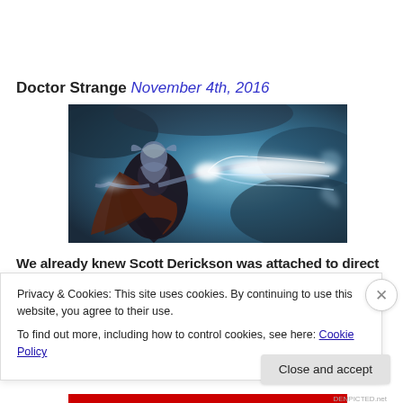Doctor Strange November 4th, 2016
[Figure (illustration): Fantasy illustration of Doctor Strange casting a spell with glowing white energy/lightning emanating from his hands, against a dark stormy background with a flowing cape.]
We already knew Scott Derickson was attached to direct
Privacy & Cookies: This site uses cookies. By continuing to use this website, you agree to their use.
To find out more, including how to control cookies, see here: Cookie Policy
Close and accept